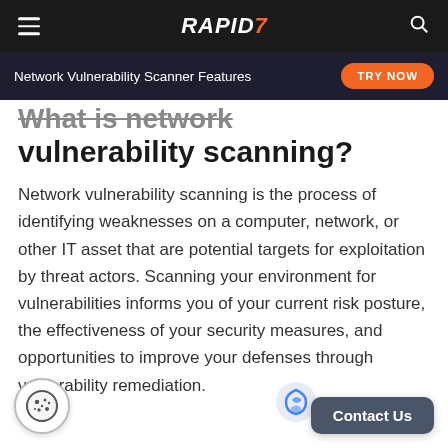RAPID7
What is network vulnerability scanning?
Network vulnerability scanning is the process of identifying weaknesses on a computer, network, or other IT asset that are potential targets for exploitation by threat actors. Scanning your environment for vulnerabilities informs you of your current risk posture, the effectiveness of your security measures, and opportunities to improve your defenses through vulnerability remediation.